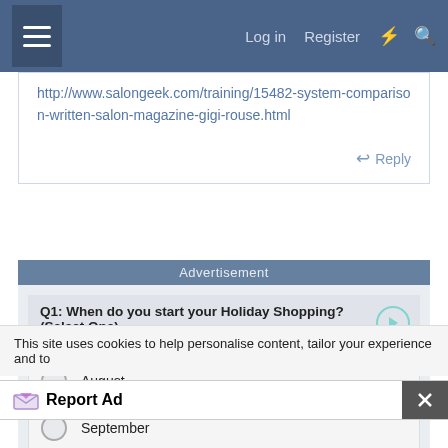Log in  Register
http://www.salongeek.com/training/15482-system-comparison-written-salon-magazine-gigi-rouse.html
↩ Reply
Advertisement
[Figure (other): Online survey advertisement: Q1: When do you start your Holiday Shopping? (Select One). Options: August, September, October, November]
This site uses cookies to help personalise content, tailor your experience and to
Report Ad